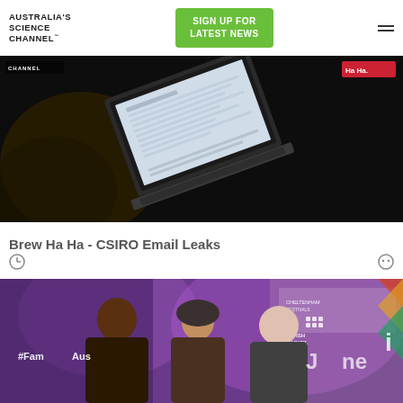AUSTRALIA'S SCIENCE CHANNEL™
SIGN UP FOR LATEST NEWS
[Figure (photo): Dark background with an open laptop computer displaying a webpage, partially lit. Yellow/gold fabric visible at left. Red badge reading 'Ha Ha.' in upper right.]
Brew Ha Ha - CSIRO Email Leaks
[Figure (photo): Three people on a stage with purple lighting. A man on the left, a woman in a hijab in the middle, and a woman with dark hair on the right. British Council banner and '#FamilyAus' text visible.]